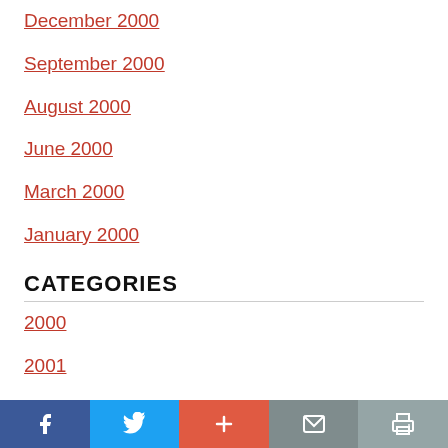December 2000
September 2000
August 2000
June 2000
March 2000
January 2000
CATEGORIES
2000
2001